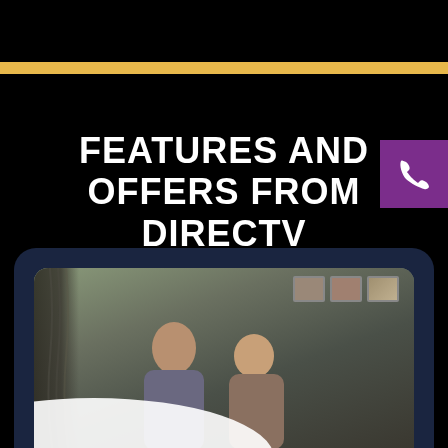FEATURES AND OFFERS FROM DIRECTV
[Figure (photo): A couple sitting on a couch watching TV, with framed pictures on the wall behind them and a curtain to the left. The scene is inside a dark-themed card/rounded rectangle at the bottom of the page.]
[Figure (illustration): Purple square button with a white phone/call icon in the upper right corner of the page.]